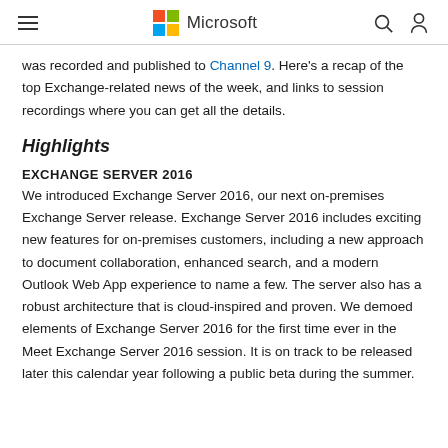Microsoft
was recorded and published to Channel 9. Here's a recap of the top Exchange-related news of the week, and links to session recordings where you can get all the details.
Highlights
EXCHANGE SERVER 2016
We introduced Exchange Server 2016, our next on-premises Exchange Server release. Exchange Server 2016 includes exciting new features for on-premises customers, including a new approach to document collaboration, enhanced search, and a modern Outlook Web App experience to name a few. The server also has a robust architecture that is cloud-inspired and proven. We demoed elements of Exchange Server 2016 for the first time ever in the Meet Exchange Server 2016 session. It is on track to be released later this calendar year following a public beta during the summer.